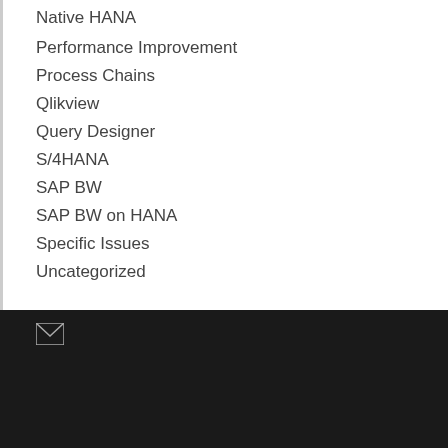Native HANA
Performance Improvement
Process Chains
Qlikview
Query Designer
S/4HANA
SAP BW
SAP BW on HANA
Specific Issues
Uncategorized
[Figure (illustration): Email/envelope icon in white on dark background footer]